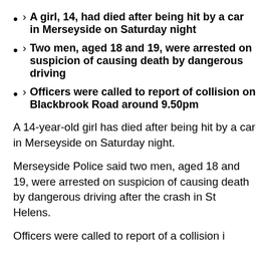› A girl, 14, had died after being hit by a car in Merseyside on Saturday night
› Two men, aged 18 and 19, were arrested on suspicion of causing death by dangerous driving
› Officers were called to report of collision on Blackbrook Road around 9.50pm
A 14-year-old girl has died after being hit by a car in Merseyside on Saturday night.
Merseyside Police said two men, aged 18 and 19, were arrested on suspicion of causing death by dangerous driving after the crash in St Helens.
Officers were called to report of a collision...